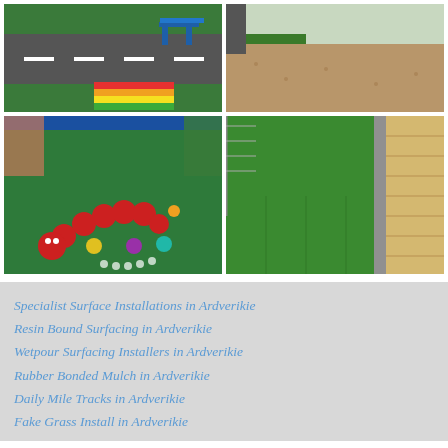[Figure (photo): Playground surface with road markings, colorful rainbow stripes, and a bench on green rubber surface]
[Figure (photo): Resin bound gravel surfacing with green grass edge]
[Figure (photo): Colourful playground wetpour surface with caterpillar and spot markings outside a school]
[Figure (photo): Artificial grass pathway between brick wall and wire fence]
Specialist Surface Installations in Ardverikie
Resin Bound Surfacing in Ardverikie
Wetpour Surfacing Installers in Ardverikie
Rubber Bonded Mulch in Ardverikie
Daily Mile Tracks in Ardverikie
Fake Grass Install in Ardverikie